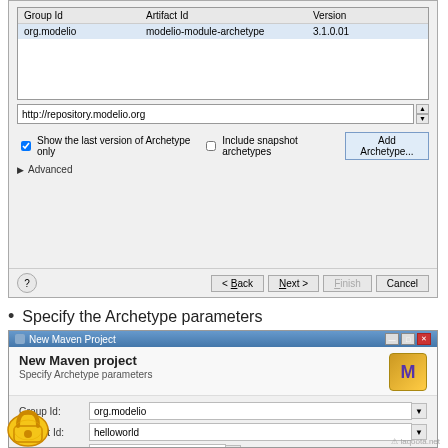[Figure (screenshot): Dialog screenshot showing Maven archetype selection with table containing org.modelio / modelio-module-archetype / 3.1.0.01 row, URL bar showing http://repository.modelio.org, checkboxes for 'Show the last version of Archetype only' and 'Include snapshot archetypes', Add Archetype button, Advanced section, and navigation buttons: Back, Next, Finish, Cancel]
Specify the Archetype parameters
[Figure (screenshot): New Maven Project dialog showing 'Specify Archetype parameters' form with fields: Group Id: org.modelio, Artifact Id: helloworld, Version: 0.0.1, Package: org.modelio.helloworld, and Properties available from archetype table with Name/Value columns and Add button]